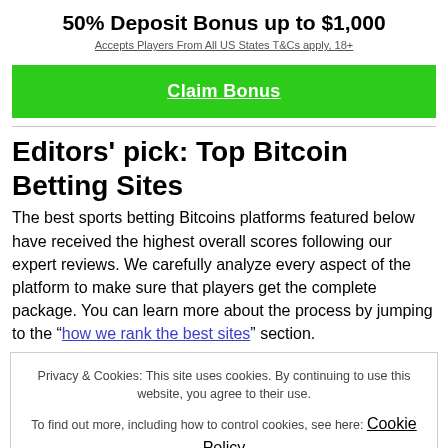50% Deposit Bonus up to $1,000
Accepts Players From All US States T&Cs apply, 18+
[Figure (other): Green Claim Bonus button with white underlined text]
Editors’ pick: Top Bitcoin Betting Sites
The best sports betting Bitcoins platforms featured below have received the highest overall scores following our expert reviews. We carefully analyze every aspect of the platform to make sure that players get the complete package. You can learn more about the process by jumping to the “how we rank the best sites” section.
Privacy & Cookies: This site uses cookies. By continuing to use this website, you agree to their use. To find out more, including how to control cookies, see here: Cookie Policy
Close and accept
3. MyBookie – One of the best Bitcoin sportsbooks for